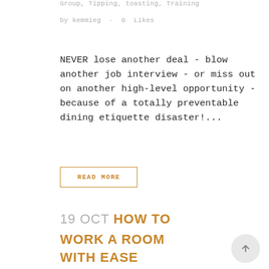Group, Tipping, toasting, Training
by kemmieg · 0 Likes
NEVER lose another deal - blow another job interview - or miss out on another high-level opportunity - because of a totally preventable dining etiquette disaster!...
READ MORE
19 OCT HOW TO WORK A ROOM WITH EASE